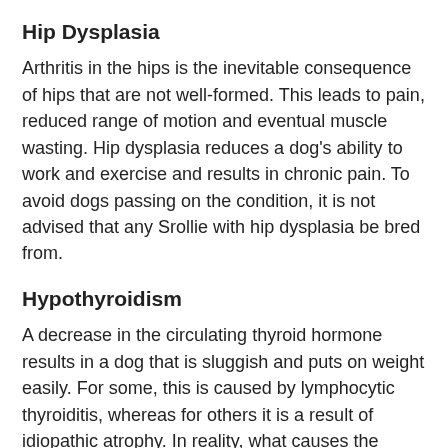Hip Dysplasia
Arthritis in the hips is the inevitable consequence of hips that are not well-formed. This leads to pain, reduced range of motion and eventual muscle wasting. Hip dysplasia reduces a dog's ability to work and exercise and results in chronic pain. To avoid dogs passing on the condition, it is not advised that any Srollie with hip dysplasia be bred from.
Hypothyroidism
A decrease in the circulating thyroid hormone results in a dog that is sluggish and puts on weight easily. For some, this is caused by lymphocytic thyroiditis, whereas for others it is a result of idiopathic atrophy. In reality, what causes the condition is irrelevant as it is treated in the same way. The thyroid hormone is artificially replaced with daily tablets and dogs can go on to live relatively normal